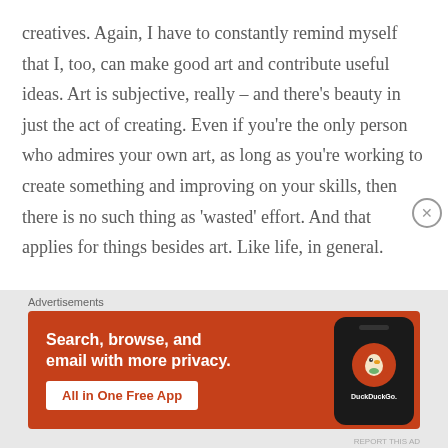creatives. Again, I have to constantly remind myself that I, too, can make good art and contribute useful ideas. Art is subjective, really – and there's beauty in just the act of creating. Even if you're the only person who admires your own art, as long as you're working to create something and improving on your skills, then there is no such thing as 'wasted' effort. And that applies for things besides art. Like life, in general.
Advertisements
[Figure (illustration): DuckDuckGo advertisement banner on orange background. Text reads: 'Search, browse, and email with more privacy. All in One Free App'. Shows a smartphone with the DuckDuckGo duck logo.]